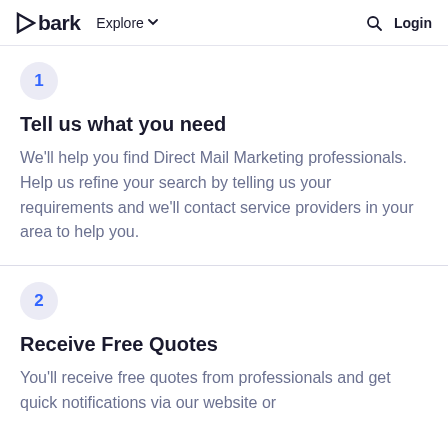bark  Explore  Login
Tell us what you need
We'll help you find Direct Mail Marketing professionals. Help us refine your search by telling us your requirements and we'll contact service providers in your area to help you.
Receive Free Quotes
You'll receive free quotes from professionals and get quick notifications via our website or